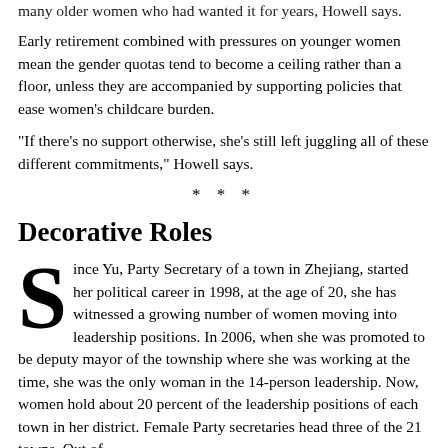many older women who had wanted it for years, Howell says.
Early retirement combined with pressures on younger women mean the gender quotas tend to become a ceiling rather than a floor, unless they are accompanied by supporting policies that ease women’s childcare burden.
“If there’s no support otherwise, she’s still left juggling all of these different commitments,” Howell says.
* * *
Decorative Roles
Since Yu, Party Secretary of a town in Zhejiang, started her political career in 1998, at the age of 20, she has witnessed a growing number of women moving into leadership positions. In 2006, when she was promoted to be deputy mayor of the township where she was working at the time, she was the only woman in the 14-person leadership. Now, women hold about 20 percent of the leadership positions of each town in her district. Female Party secretaries head three of the 21 towns. Out of